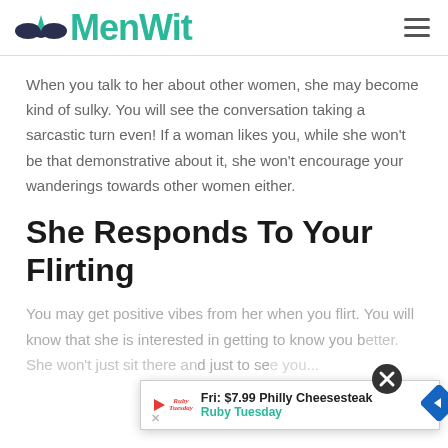MenWit
When you talk to her about other women, she may become kind of sulky. You will see the conversation taking a sarcastic turn even! If a woman likes you, while she won't be that demonstrative about it, she won't encourage your wanderings towards other women either.
She Responds To Your Flirting
You may get positive vibes from her when you flirt. You will know that she is interested in getting to know you b... d just to se...
[Figure (other): Advertisement overlay: Fri: $7.99 Philly Cheesesteak - Ruby Tuesday, with close button and navigation arrow]